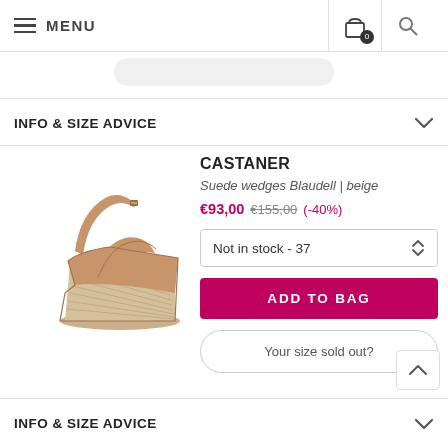MENU
INFO & SIZE ADVICE
[Figure (photo): Beige suede wedge sandal with ankle strap and espadrille-style wedge sole]
CASTANER
Suede wedges Blaudell | beige
€93,00 €155,00 (-40%)
Not in stock - 37
ADD TO BAG
Your size sold out?
INFO & SIZE ADVICE